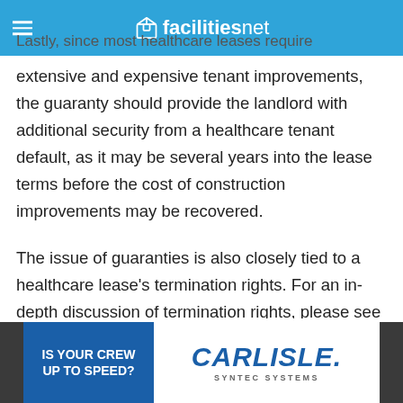facilitiesnet
Lastly, since most healthcare leases require extensive and expensive tenant improvements, the guaranty should provide the landlord with additional security from a healthcare tenant default, as it may be several years into the lease terms before the cost of construction improvements may be recovered.

The issue of guaranties is also closely tied to a healthcare lease's termination rights. For an in-depth discussion of termination rights, please see Part Five of this series.
[Figure (advertisement): Carlisle Syntec Systems advertisement banner with blue section reading 'IS YOUR CREW UP TO SPEED?' and white section with Carlisle Syntec Systems logo]